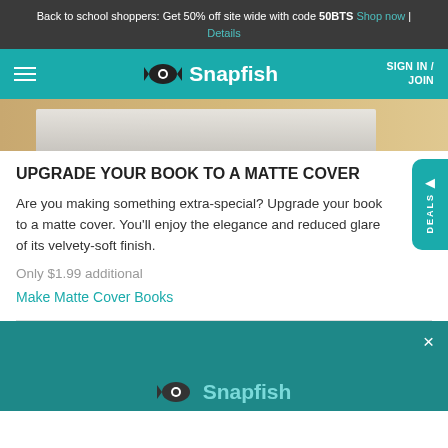Back to school shoppers: Get 50% off site wide with code 50BTS Shop now | Details
Snapfish SIGN IN / JOIN
[Figure (photo): Top portion of a photo book on a wooden surface, partially visible]
UPGRADE YOUR BOOK TO A MATTE COVER
Are you making something extra-special? Upgrade your book to a matte cover. You'll enjoy the elegance and reduced glare of its velvety-soft finish.
Only $1.99 additional
Make Matte Cover Books
[Figure (screenshot): Bottom teal section with Snapfish logo and close button (X)]